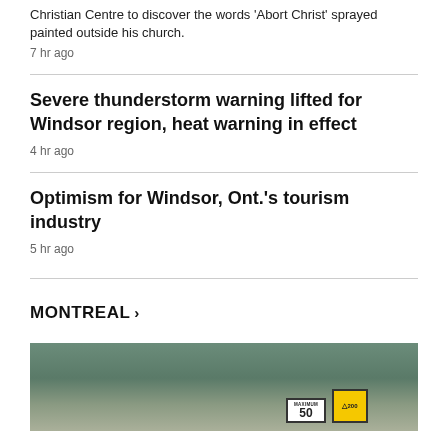Christian Centre to discover the words 'Abort Christ' sprayed painted outside his church.
7 hr ago
Severe thunderstorm warning lifted for Windsor region, heat warning in effect
4 hr ago
Optimism for Windsor, Ont.'s tourism industry
5 hr ago
MONTREAL >
[Figure (photo): Photo of a road or construction area with traffic signs including a MAXIMUM 50 speed sign and a yellow truck warning sign (200 label visible)]